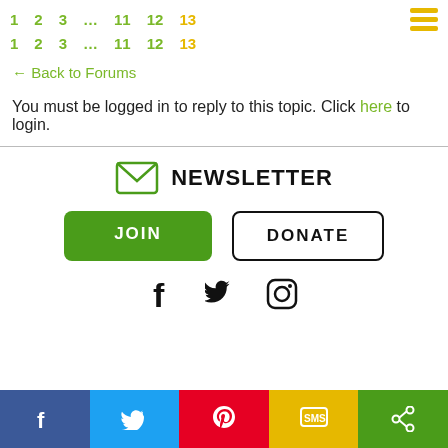1 2 3 … 11 12 13 [hamburger menu]
1 2 3 … 11 12 13 [hamburger menu]
← Back to Forums
You must be logged in to reply to this topic. Click here to login.
[Figure (infographic): Newsletter signup section with envelope icon and NEWSLETTER label, JOIN (green) and DONATE (outlined) buttons, and Facebook, Twitter, Instagram social icons]
[Figure (infographic): Bottom share bar with Facebook (blue), Twitter (light blue), Pinterest (red), SMS (yellow), Share (green) buttons]